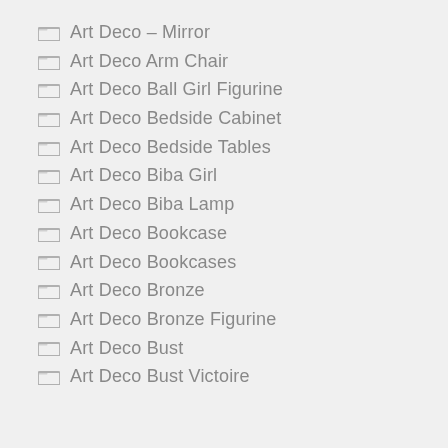Art Deco – Mirror
Art Deco Arm Chair
Art Deco Ball Girl Figurine
Art Deco Bedside Cabinet
Art Deco Bedside Tables
Art Deco Biba Girl
Art Deco Biba Lamp
Art Deco Bookcase
Art Deco Bookcases
Art Deco Bronze
Art Deco Bronze Figurine
Art Deco Bust
Art Deco Bust Victoire